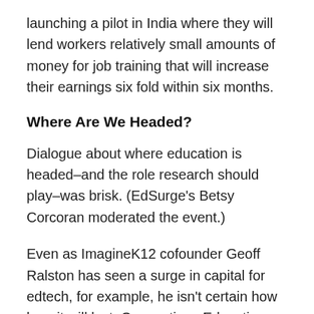launching a pilot in India where they will lend workers relatively small amounts of money for job training that will increase their earnings six fold within six months.
Where Are We Headed?
Dialogue about where education is headed–and the role research should play–was brisk. (EdSurge's Betsy Corcoran moderated the event.)
Even as ImagineK12 cofounder Geoff Ralston has seen a surge in capital for edtech, for example, he isn't certain how long it will last. Connections Education cofounder, Mickey Revenaugh, who was beamed into the Philadelphia conference from her spot on stage at the ongoing San Francisco SIIA conference, argued that the real fragility in the ecosystem is less about edtech and